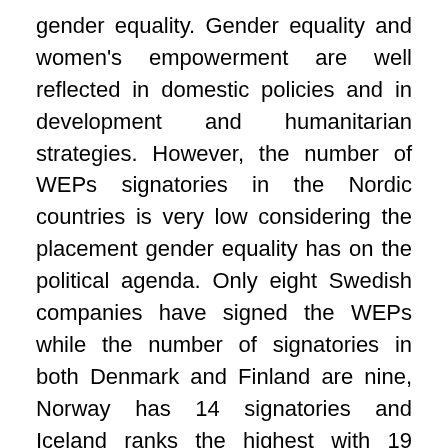gender equality. Gender equality and women's empowerment are well reflected in domestic policies and in development and humanitarian strategies. However, the number of WEPs signatories in the Nordic countries is very low considering the placement gender equality has on the political agenda. Only eight Swedish companies have signed the WEPs while the number of signatories in both Denmark and Finland are nine, Norway has 14 signatories and Iceland ranks the highest with 19 signatories.
Global research has proven that improving gender equality and demonstrating gender diversity helps business perform better, both in terms of